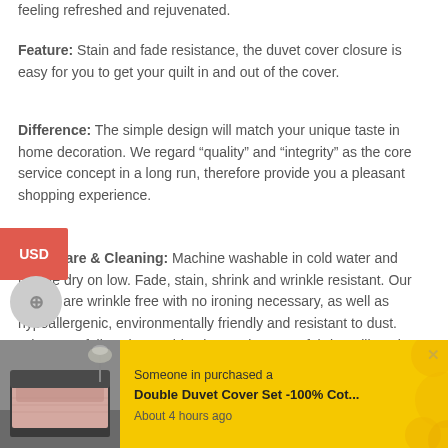feeling refreshed and rejuvenated.
Feature: Stain and fade resistance, the duvet cover closure is easy for you to get your quilt in and out of the cover.
Difference: The simple design will match your unique taste in home decoration. We regard “quality” and “integrity” as the core service concept in a long run, therefore provide you a pleasant shopping experience.
Daily Care & Cleaning: Machine washable in cold water and tumble dry on low. Fade, stain, shrink and wrinkle resistant. Our sheets are wrinkle free with no ironing necessary, as well as hypoallergenic, environmentally friendly and resistant to dust. When you follow the washing instructions, our fabrics will not be discoloration.
Elegant... blanket... the duv... wash. Our fabulous selection of vibrant colors will have dust
[Figure (screenshot): Notification popup showing someone purchased a Double Duvet Cover Set -100% Cot... About 4 hours ago, with product image on yellow background]